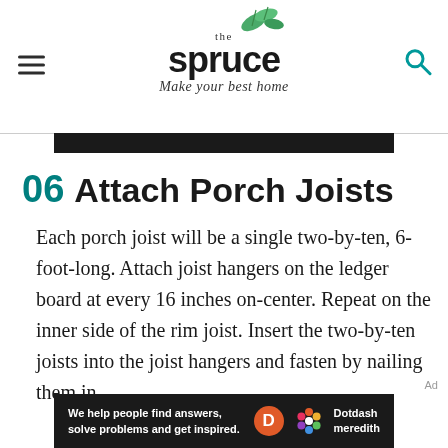the spruce — Make your best home
[Figure (screenshot): Dark image strip at top of article, partially visible photo]
06 Attach Porch Joists
Each porch joist will be a single two-by-ten, 6-foot-long. Attach joist hangers on the ledger board at every 16 inches on-center. Repeat on the inner side of the rim joist. Insert the two-by-ten joists into the joist hangers and fasten by nailing them in.
Ad
[Figure (logo): Dotdash Meredith advertisement banner: 'We help people find answers, solve problems and get inspired.']